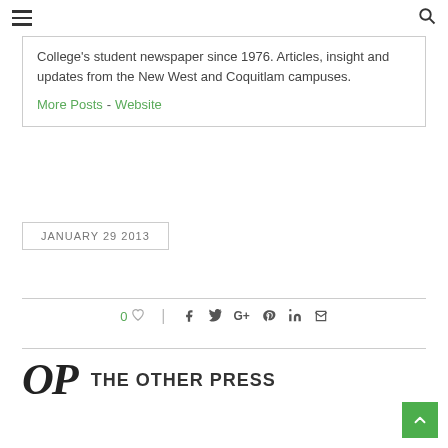≡  🔍
College's student newspaper since 1976. Articles, insight and updates from the New West and Coquitlam campuses.
More Posts - Website
JANUARY 29 2013
0 ♡ | f  t  G+  Pinterest  in  ✉
THE OTHER PRESS